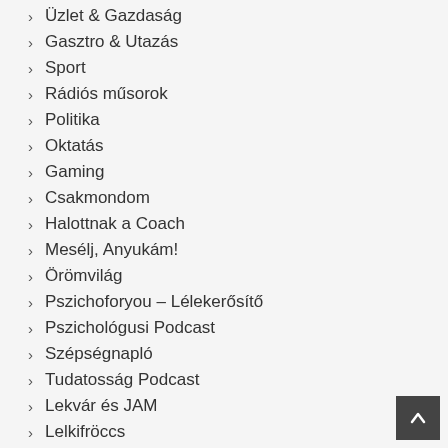Üzlet & Gazdaság
Gasztro & Utazás
Sport
Rádiós műsorok
Politika
Oktatás
Gaming
Csakmondom
Halottnak a Coach
Mesélj, Anyukám!
Örömvilág
Pszichoforyou – Lélekerősítő
Pszichológusi Podcast
Szépségnapló
Tudatosság Podcast
Lekvár és JAM
Lelkifröccs